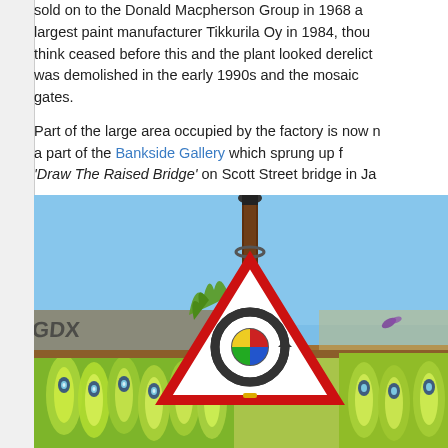sold on to the Donald Macpherson Group in 1968 and largest paint manufacturer Tikkurila Oy in 1984, though think ceased before this and the plant looked derelict. was demolished in the early 1990s and the mosaic gates.

Part of the large area occupied by the factory is now a part of the Bankside Gallery which sprung up f 'Draw The Raised Bridge' on Scott Street bridge in Ja
[Figure (photo): Outdoor photo showing a red triangular UK roundabout warning sign on a brown metal pole against a blue sky. Below the sign is a colorful fence with peacock feather street art in vivid greens, blues and yellows. There is also graffiti visible on a wall behind the fence, and some plants/weeds growing.]